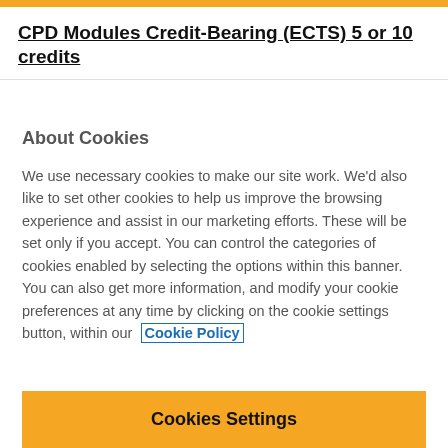CPD Modules Credit-Bearing (ECTS) 5 or 10 credits
About Cookies
We use necessary cookies to make our site work. We'd also like to set other cookies to help us improve the browsing experience and assist in our marketing efforts. These will be set only if you accept. You can control the categories of cookies enabled by selecting the options within this banner. You can also get more information, and modify your cookie preferences at any time by clicking on the cookie settings button, within our Cookie Policy
Cookies Settings